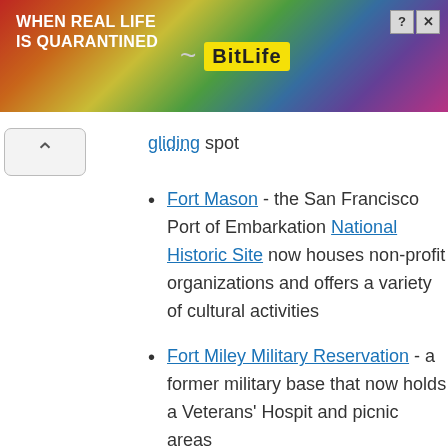[Figure (screenshot): BitLife advertisement banner: rainbow background, text 'WHEN REAL LIFE IS QUARANTINED' in white bold, BitLife logo in yellow, cartoon character with mask and thumbs up, close/help buttons in top right]
gliding spot
Fort Mason - the San Francisco Port of Embarkation National Historic Site now houses non-profit organizations and offers a variety of cultural activities
Fort Miley Military Reservation - a former military base that now holds a Veterans' Hospital and picnic areas
Lands End - a natural preserve including the Coastal Trail which will bring one to scenic view